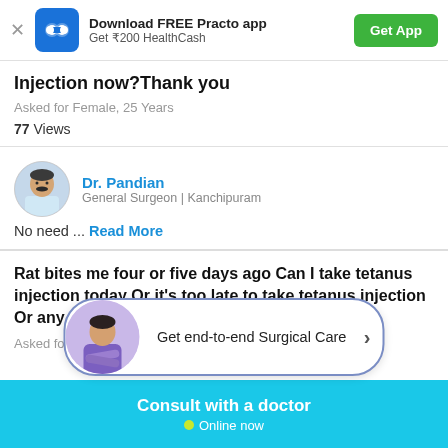Download FREE Practo app | Get ₹200 HealthCash | Get App
Injection now?Thank you
Asked for Female, 25 Years
77 Views
Dr. Pandian | General Surgeon | Kanchipuram
No need ... Read More
Rat bites me four or five days ago Can I take tetanus injection today Or it's too late to take tetanus injection Or any othe
Asked for Male, 26 Years
[Figure (infographic): Promotional banner with doctor image: Get end-to-end Surgical Care >]
Consult with a doctor • Online now